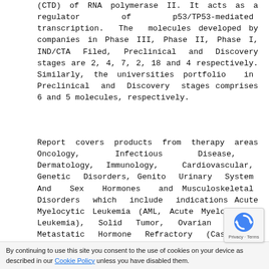(CTD) of RNA polymerase II. It acts as a regulator of p53/TP53-mediated transcription. The molecules developed by companies in Phase III, Phase II, Phase I, IND/CTA Filed, Preclinical and Discovery stages are 2, 4, 7, 2, 18 and 4 respectively. Similarly, the universities portfolio in Preclinical and Discovery stages comprises 6 and 5 molecules, respectively.
Report covers products from therapy areas Oncology, Infectious Disease, Dermatology, Immunology, Cardiovascular, Genetic Disorders, Genito Urinary System And Sex Hormones and Musculoskeletal Disorders which include indications Acute Myelocytic Leukemia (AML, Acute Myeloblastic Leukemia), Solid Tumor, Ovarian Cancer, Metastatic Hormone Refractory (Castration Resistant, Androgen-Independent) Prostate Cancer, Myelofibrosis, Triple-Negative Breast Cancer (TNBC), Lymphoma, Pancreatic Cancer, Diffuse Large B-Cell Lymphoma, Fallopian Tube Cancer, Melanoma, Multiple Myeloma (Kahler Disease), Myelodysplastic Syndrome, Peritoneal Cancer, Small-Cell Lung Cancer, Cancer, Colorectal Cancer, Human Immunodefi
By continuing to use this site you consent to the use of cookies on your device as described in our Cookie Policy unless you have disabled them.